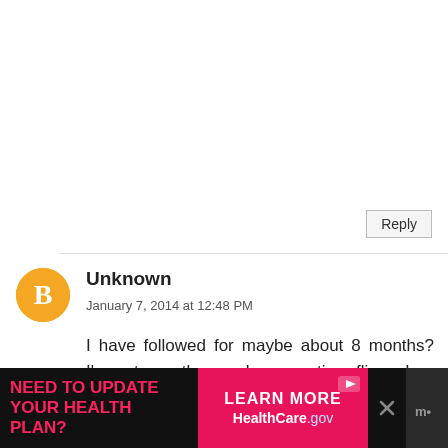can make easily and not have to go and purchase in a store. I hope to get back into it! I would hope we would be friends in real life and have jewelry making parties all the time :) (aka you teaching me all your tips and tricks and fixing my mistakes all over wine and a good movie/reality tv)
Reply
Unknown
January 7, 2014 at 12:48 PM
I have followed for maybe about 8 months? I'm not exactly sure because time flies when you're having fun! :)
Diane @ Vintage Zest
[Figure (infographic): Ad banner: black background with pink text 'NEED TO UPDATE YOUR HEALTH PLAN?' on left, pink section with 'LEARN MORE' and 'HealthCare.gov' on right, close X button, and mdot logo]